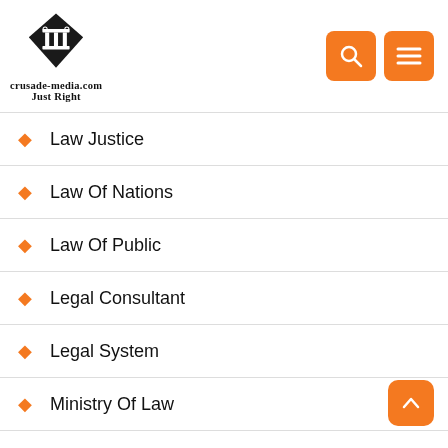[Figure (logo): crusade-media.com Just Right logo with diamond/column icon]
Law Justice
Law Of Nations
Law Of Public
Legal Consultant
Legal System
Ministry Of Law
Moral Justice
News Update